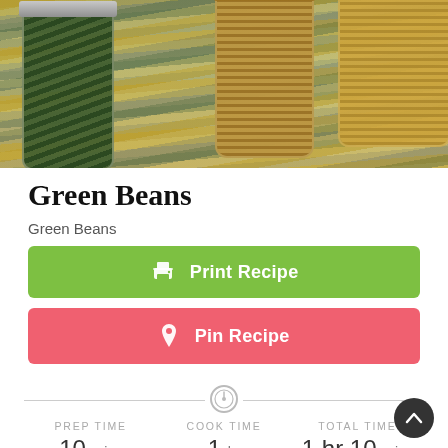[Figure (photo): Photo of glass jars containing green beans and grains/lentils, sitting on a striped cloth]
Green Beans
Green Beans
Print Recipe
Pin Recipe
PREP TIME
10 mins
COOK TIME
1 hr
TOTAL TIME
1 hr 10 mins